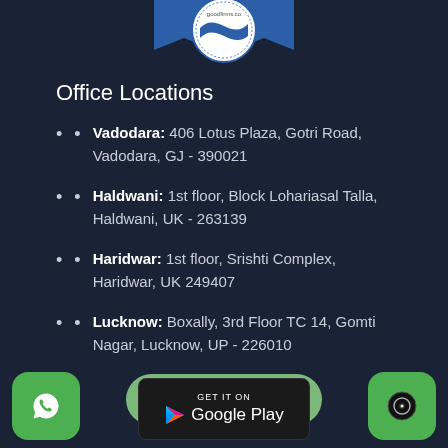[Figure (logo): GoodFirms badge/award logo at top center]
Office Locations
Vadodara: 406 Lotus Plaza, Gotri Road, Vadodara, GJ - 390021
Haldwani: 1st floor, Block Lohariasal Talla, Haldwani, UK - 263139
Haridwar: 1st floor, Srishti Complex, Haridwar, UK 249407
Lucknow: Boxally, 3rd Floor TC 14, Gomti Nagar, Lucknow, UP - 226010
[Figure (illustration): Try Demo green rounded button]
[Figure (logo): WhatsApp icon bottom left]
[Figure (logo): Google Play store badge bottom center]
[Figure (logo): Chat/bubble icon bottom right]